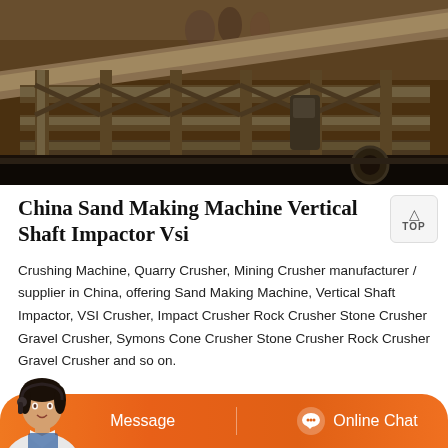[Figure (photo): Industrial machinery photograph showing a large metal structure, likely a vertical shaft impactor (VSI) sand making machine or crusher equipment, with metal framework, beams, and machinery components visible in an industrial setting.]
China Sand Making Machine Vertical Shaft Impactor Vsi
Crushing Machine, Quarry Crusher, Mining Crusher manufacturer / supplier in China, offering Sand Making Machine, Vertical Shaft Impactor, VSI Crusher, Impact Crusher Rock Crusher Stone Crusher Gravel Crusher, Symons Cone Crusher Stone Crusher Rock Crusher Gravel Crusher and so on.